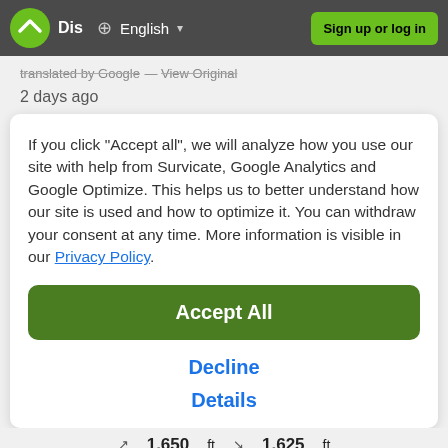Dis  English  Sign up or log in
translated by Google — View Original
2 days ago
If you click "Accept all", we will analyze how you use our site with help from Survicate, Google Analytics and Google Optimize. This helps us to better understand how our site is used and how to optimize it. You can withdraw your consent at any time. More information is visible in our Privacy Policy.
Accept All
Decline
Details
↗ 1,650 ft  ↘ 1,625 ft